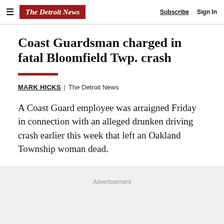The Detroit News | Subscribe | Sign In
Coast Guardsman charged in fatal Bloomfield Twp. crash
MARK HICKS | The Detroit News
A Coast Guard employee was arraigned Friday in connection with an alleged drunken driving crash earlier this week that left an Oakland Township woman dead.
Advertisement